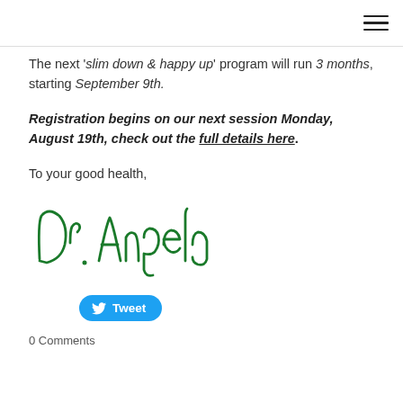[hamburger menu icon]
The next 'slim down & happy up' program will run 3 months, starting September 9th.
Registration begins on our next session Monday, August 19th, check out the full details here.
To your good health,
[Figure (illustration): Handwritten signature reading 'Dr. Angela' in green ink cursive script]
Tweet
0 Comments